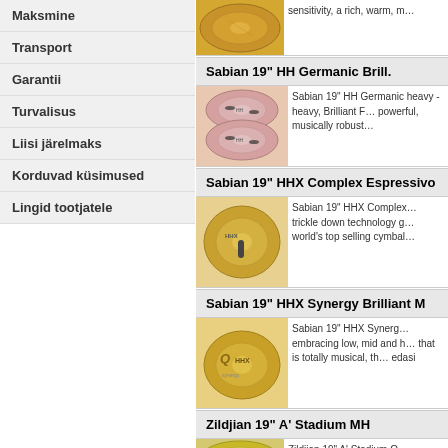Maksmine
Transport
Garantii
Turvalisus
Liisi järelmaks
Korduvad küsimused
Lingid tootjatele
Sabian 19" HH Germanic Brill.
[Figure (photo): Sabian 19 HH Germanic Brilliant cymbals photo]
Sabian 19" HH Germanic heavy - heavy, Brilliant F... powerful, musically robust...
Sabian 19" HHX Complex Espressivo
[Figure (photo): Sabian 19 HHX Complex Espressivo cymbal photo]
Sabian 19" HHX Complex... trickle down technology g... world's top selling cymbal...
Sabian 19" HHX Synergy Brilliant M
[Figure (photo): Sabian 19 HHX Synergy Brilliant M cymbal photo]
Sabian 19" HHX Synerg... embracing low, mid and h... that is totally musical, th... edasi
Zildjian 19" A' Stadium MH
[Figure (photo): Zildjian 19 A Stadium MH cymbal photo]
Zildjian 19" A' Stadium O...